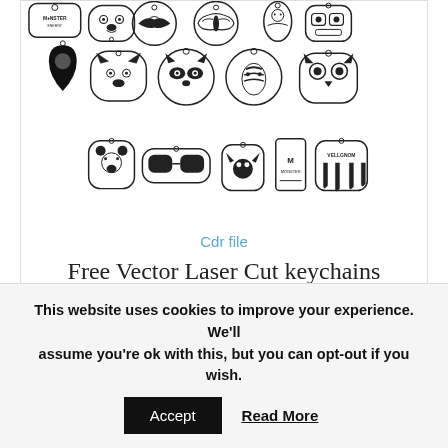[Figure (illustration): A collection of laser cut keychain designs including animal faces (pug, eagle/owl, raccoon, fox, zebra, owl), character shapes, Monster Energy logo, cat silhouettes, and various decorative keychains arranged in a grid layout, black and white vector style.]
Cdr file
Free Vector Laser Cut keychains Collection CDR file
If you are looking for a Free Vector Laser Cut keychains Collection CDR file download then this...
This website uses cookies to improve your experience. We'll assume you're ok with this, but you can opt-out if you wish.
Accept
Read More